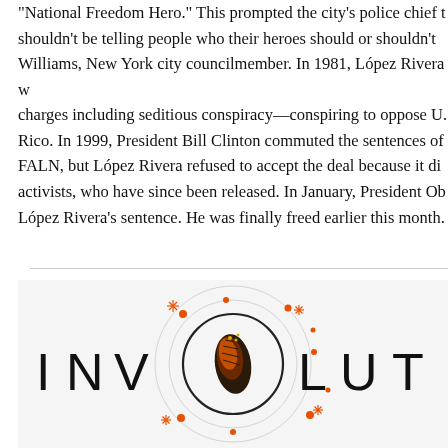“National Freedom Hero.” This prompted the city’s police chief to say people shouldn’t be telling people who their heroes should or shouldn’t be, said Williams, New York city councilmember. In 1981, López Rivera was convicted on charges including seditious conspiracy—conspiring to oppose U.S. rule of Puerto Rico. In 1999, President Bill Clinton commuted the sentences of other members of FALN, but López Rivera refused to accept the deal because it did not include fellow activists, who have since been released. In January, President Obama commuted López Rivera’s sentence. He was finally freed earlier this month.
[Figure (illustration): Book cover or logo design showing the word INVOLU(TION) with a large circular design. A monarch butterfly chrysalis is visible inside a central black circle, surrounded by concentric grey circles with orange dot decorations at various points. Letters I N V appear to the left of the circle and L U T appear to the right, all in large spaced black caps.]